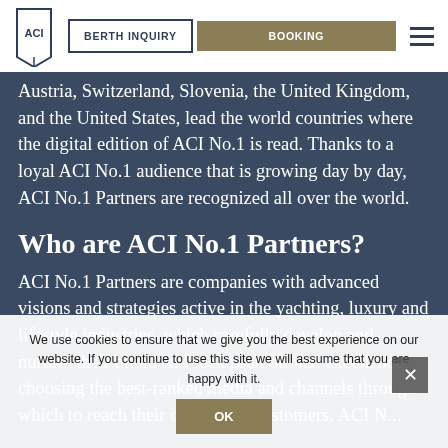BERTH INQUIRY | BOOKING
ACI No.1 is downloaded, browsed and read. Along with Germany, of course, Austria, Switzerland, Slovenia, the United Kingdom, and the United States, lead the world countries where the digital edition of ACI No.1 is read. Thanks to a loyal ACI No.1 audience that is growing day by day, ACI No.1 Partners are recognized all over the world.
Who are ACI No.1 Partners?
ACI No.1 Partners are companies with advanced visions and strategies active in the yachting, luxury and lifestyle industries, which carefully develop and nurture their brand and seek promotional excellence, choosing the best-ranked media and channels through which to reach their clients and customers. ACI No.1
We use cookies to ensure that we give you the best experience on our website. If you continue to use this site we will assume that you are happy with it.